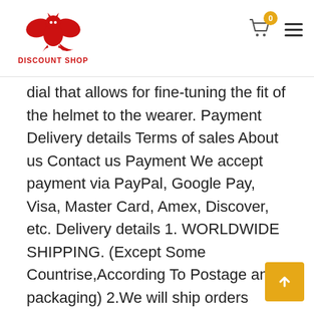DISCOUNT SHOP
dial that allows for fine-tuning the fit of the helmet to the wearer. Payment Delivery details Terms of sales About us Contact us Payment We accept payment via PayPal, Google Pay, Visa, Master Card, Amex, Discover, etc. Delivery details 1. WORLDWIDE SHIPPING. (Except Some Countrise,According To Postage and packaging) 2.We will ship orders which total amount = or > $20 with tracking number. 3. Orders processed within 24-48 hours of payment verification. 4. Please check your shipping address carefully to make sure it is correct. 5. Delivery Time:Normal item will arrive in 15-30 days, sometime a bit delayed. For shipping to some remote countries, shipping time will take a bit longer, goes to 30-40